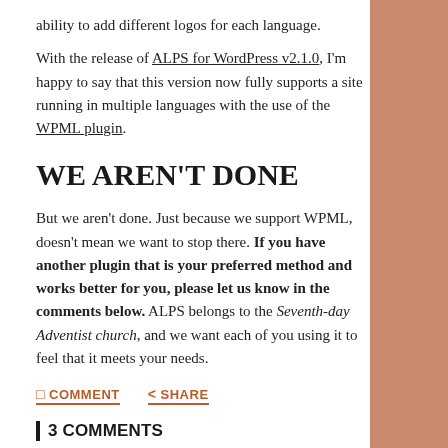ability to add different logos for each language.
With the release of ALPS for WordPress v2.1.0, I'm happy to say that this version now fully supports a site running in multiple languages with the use of the WPML plugin.
WE AREN'T DONE
But we aren't done. Just because we support WPML, doesn't mean we want to stop there. If you have another plugin that is your preferred method and works better for you, please let us know in the comments below. ALPS belongs to the Seventh-day Adventist church, and we want each of you using it to feel that it meets your needs.
□ COMMENT   < SHARE
3 COMMENTS
polukes  |  April 14, 2018 at 4:59 pm
Hi!